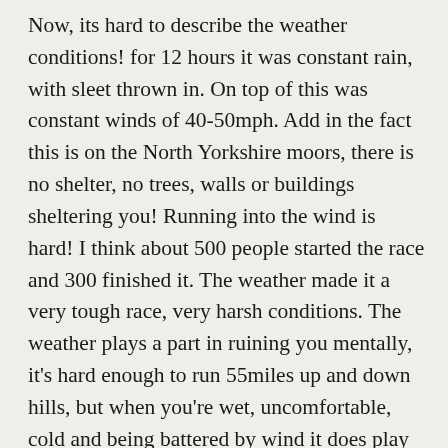Now, its hard to describe the weather conditions! for 12 hours it was constant rain, with sleet thrown in. On top of this was constant winds of 40-50mph. Add in the fact this is on the North Yorkshire moors, there is no shelter, no trees, walls or buildings sheltering you! Running into the wind is hard! I think about 500 people started the race and 300 finished it. The weather made it a very tough race, very harsh conditions. The weather plays a part in ruining you mentally, it's hard enough to run 55miles up and down hills, but when you're wet, uncomfortable, cold and being battered by wind it does play with your head as to why am i doing this! On the day it seemed so stupid as to why i would have signed up to the event especially after the storms and snow of last year! But the days after the race, i'm kind of only remembering it as an awesome